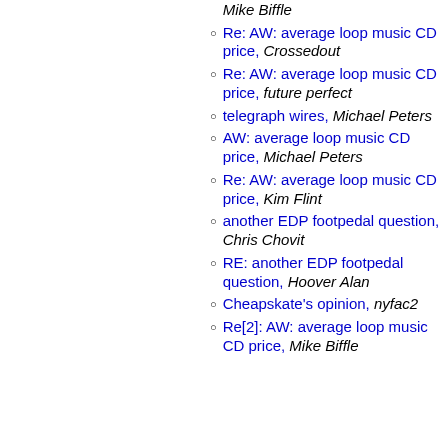Re[2]: My Future in Looping, Mike Biffle
Re: AW: average loop music CD price, Crossedout
Re: AW: average loop music CD price, future perfect
telegraph wires, Michael Peters
AW: average loop music CD price, Michael Peters
Re: AW: average loop music CD price, Kim Flint
another EDP footpedal question, Chris Chovit
RE: another EDP footpedal question, Hoover Alan
Cheapskate's opinion, nyfac2
Re[2]: AW: average loop music CD price, Mike Biffle